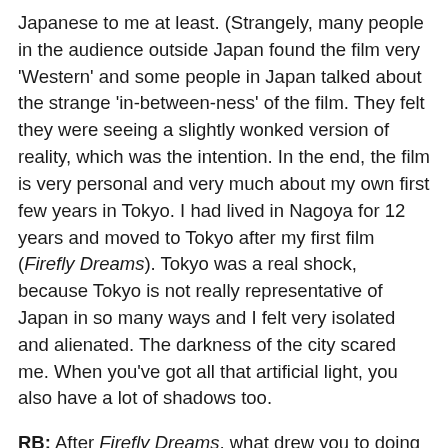Japanese to me at least. (Strangely, many people in the audience outside Japan found the film very 'Western' and some people in Japan talked about the strange 'in-between-ness' of the film. They felt they were seeing a slightly wonked version of reality, which was the intention. In the end, the film is very personal and very much about my own first few years in Tokyo. I had lived in Nagoya for 12 years and moved to Tokyo after my first film (Firefly Dreams). Tokyo was a real shock, because Tokyo is not really representative of Japan in so many ways and I felt very isolated and alienated. The darkness of the city scared me. When you've got all that artificial light, you also have a lot of shadows too.
RB: After Firefly Dreams, what drew you to doing a much darker/noir story? American noir seems to be a central influence in Starfish Hotel so was it a risk doing such a film in Japan?
JW: It was a big risk to do this film. I didn't know that at the